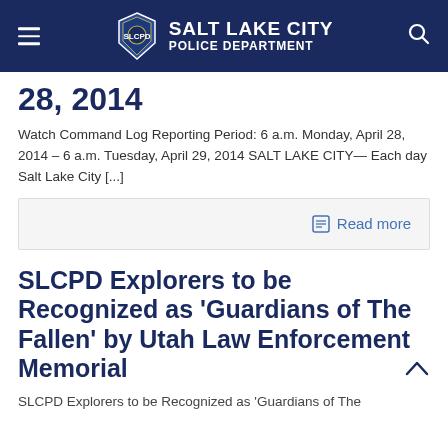Salt Lake City Police Department
28, 2014
Watch Command Log Reporting Period: 6 a.m. Monday, April 28, 2014 – 6 a.m. Tuesday, April 29, 2014 SALT LAKE CITY— Each day Salt Lake City [...]
Read more
SLCPD Explorers to be Recognized as ‘Guardians of The Fallen’ by Utah Law Enforcement Memorial
SLCPD Explorers to be Recognized as ‘Guardians of The